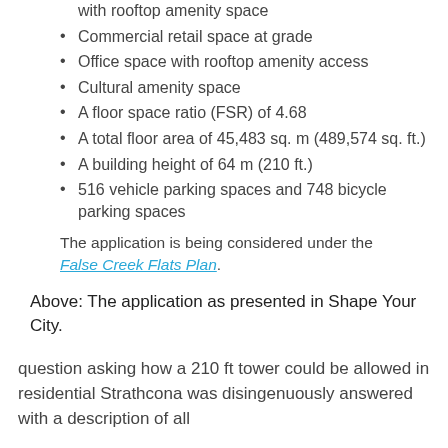with rooftop amenity space
Commercial retail space at grade
Office space with rooftop amenity access
Cultural amenity space
A floor space ratio (FSR) of 4.68
A total floor area of 45,483 sq. m (489,574 sq. ft.)
A building height of 64 m (210 ft.)
516 vehicle parking spaces and 748 bicycle parking spaces
The application is being considered under the False Creek Flats Plan.
Above: The application as presented in Shape Your City.
question asking how a 210 ft tower could be allowed in residential Strathcona was disingenuously answered with a description of all